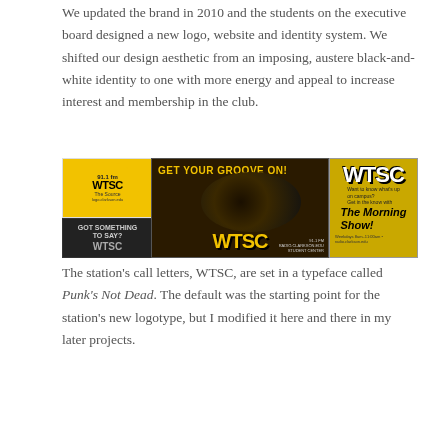We updated the brand in 2010 and the students on the executive board designed a new logo, website and identity system. We shifted our design aesthetic from an imposing, austere black-and-white identity to one with more energy and appeal to increase interest and membership in the club.
[Figure (photo): Composite image showing WTSC radio station branding materials: a yellow circular logo with '91.1 fm WTSC The Source', a center banner with 'GET YOUR GROOVE ON!' text and a vinyl record/turntable photo with 'WTSC' lettering, and a right panel with 'WTSC The Morning Show' on yellow-green background.]
The station's call letters, WTSC, are set in a typeface called Punk's Not Dead. The default was the starting point for the station's new logotype, but I modified it here and there in my later projects.